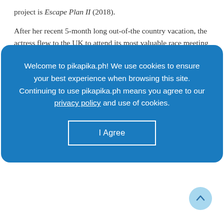project is Escape Plan II (2018).
After her recent 5-month long out-of-the country vacation, the actress flew to the UK to attend its most valuable race meeting — Royal Ascot. It is the
Welcome to pikapika.ph! We use cookies to ensure your best experience when browsing this site. Continuing to use pikapika.ph means you agree to our privacy policy and use of cookies.
I Agree